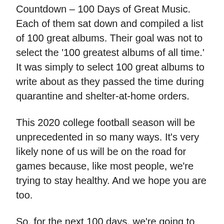Countdown – 100 Days of Great Music. Each of them sat down and compiled a list of 100 great albums. Their goal was not to select the '100 greatest albums of all time.' It was simply to select 100 great albums to write about as they passed the time during quarantine and shelter-at-home orders.
This 2020 college football season will be unprecedented in so many ways. It's very likely none of us will be on the road for games because, like most people, we're trying to stay healthy. And we hope you are too.
So, for the next 100 days, we're going to publish their countdown here at CollegeFootballAmericaPR.com (the list was originally published on Webb's personal site, kendallwebb.net). Consider it the ultimate playlist for the ultimate college road trip — music for every taste,